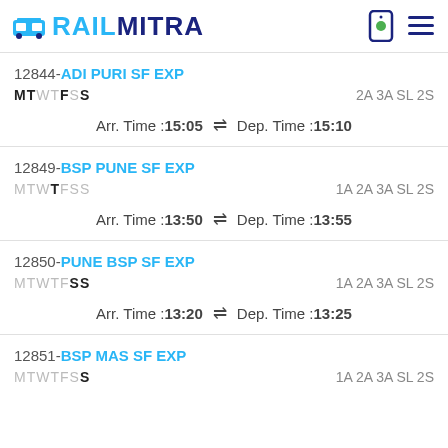RAILMITRA
12844-ADI PURI SF EXP
MTWTFSS	2A 3A SL 2S
Arr. Time :15:05 ⇌ Dep. Time :15:10
12849-BSP PUNE SF EXP
MTWTFSS	1A 2A 3A SL 2S
Arr. Time :13:50 ⇌ Dep. Time :13:55
12850-PUNE BSP SF EXP
MTWTFSS	1A 2A 3A SL 2S
Arr. Time :13:20 ⇌ Dep. Time :13:25
12851-BSP MAS SF EXP
MTWTFSS	1A 2A 3A SL 2S